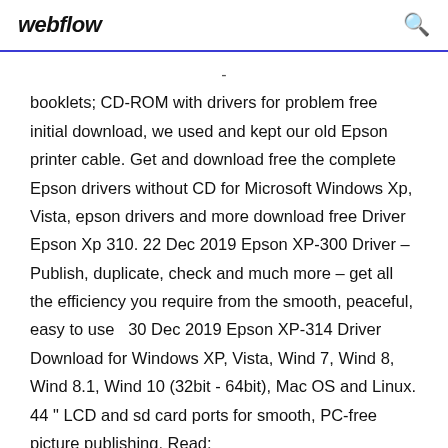webflow
booklets; CD-ROM with drivers for problem free initial download, we used and kept our old Epson printer cable. Get and download free the complete Epson drivers without CD for Microsoft Windows Xp, Vista, epson drivers and more download free Driver Epson Xp 310. 22 Dec 2019 Epson XP-300 Driver – Publish, duplicate, check and much more – get all the efficiency you require from the smooth, peaceful, easy to use  30 Dec 2019 Epson XP-314 Driver Download for Windows XP, Vista, Wind 7, Wind 8, Wind 8.1, Wind 10 (32bit - 64bit), Mac OS and Linux. 44 " LCD and sd card ports for smooth, PC-free picture publishing. Read: